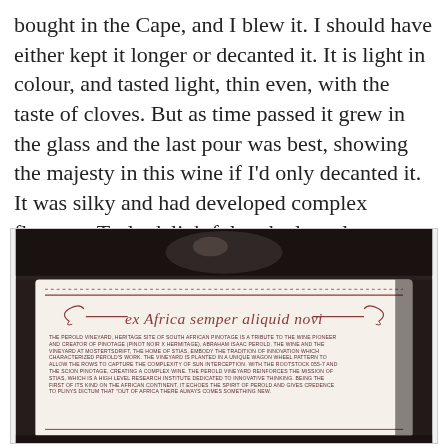bought in the Cape, and I blew it. I should have either kept it longer or decanted it. It is light in colour, and tasted light, thin even, with the taste of cloves. But as time passed it grew in the glass and the last pour was best, showing the majesty in this wine if I'd only decanted it. It was silky and had developed complex flavours. Truly delightful at the last glass.
[Figure (photo): Close-up photo of the back label of a wine bottle. The label reads 'ex Africa semper aliquid novi' in stylized italic script, with small-print text describing The Perold Vineyard, Heritage Site of South African Pinotage.]